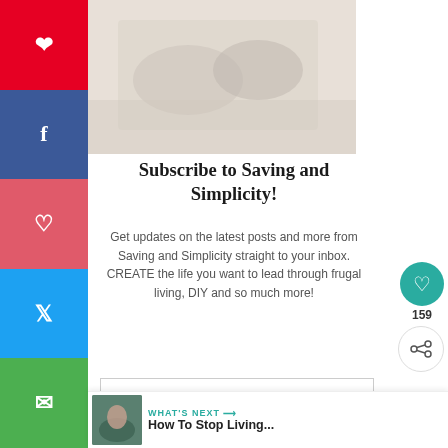[Figure (photo): Close-up photo of hands on white bedding/sheets, soft light, lifestyle/wellness image]
Subscribe to Saving and Simplicity!
Get updates on the latest posts and more from Saving and Simplicity straight to your inbox. CREATE the life you want to lead through frugal living, DIY and so much more!
Your Email...
SUBSCRIBE
WHAT'S NEXT → How To Stop Living...